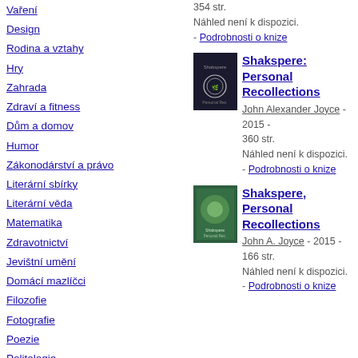Vaření
Design
Rodina a vztahy
Hry
Zahrada
Zdraví a fitness
Dům a domov
Humor
Zákonodárství a právo
Literární sbírky
Literární věda
Matematika
Zdravotnictví
Jevištní umění
Domácí mazlíčci
Filozofie
Fotografie
Poezie
Politologie
Psychologie
Náboženství
Sebevýchova a seberozvoj
354 str. Náhled není k dispozici. - Podrobnosti o knize
[Figure (photo): Dark book cover with wreath emblem for Shakspere: Personal Recollections]
Shakspere: Personal Recollections - John Alexander Joyce - 2015 - 360 str. Náhled není k dispozici. - Podrobnosti o knize
[Figure (photo): Green/teal book cover for Shakspere, Personal Recollections by John A. Joyce]
Shakspere, Personal Recollections - John A. Joyce - 2015 - 166 str. Náhled není k dispozici. - Podrobnosti o knize